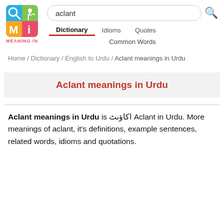[Figure (logo): Meaning In logo — 2x2 colored grid with magnifier, plant, M and i icons; red MEANING IN text below]
aclant
Dictionary   Idioms   Quotes
Common Words
Home / Dictionary / English to Urdu / Aclant meanings in Urdu
Aclant meanings in Urdu
Aclant meanings in Urdu is اکاؤنٹ Aclant in Urdu. More meanings of aclant, it's definitions, example sentences, related words, idioms and quotations.